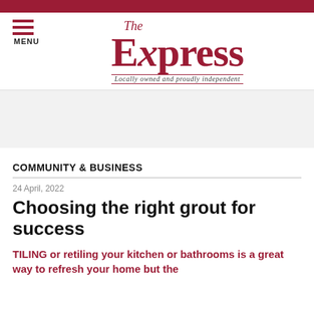The Express — Locally owned and proudly independent
[Figure (logo): The Express newspaper logo with hamburger menu icon and tagline 'Locally owned and proudly independent']
COMMUNITY & BUSINESS
24 April, 2022
Choosing the right grout for success
TILING or retiling your kitchen or bathrooms is a great way to refresh your home but the